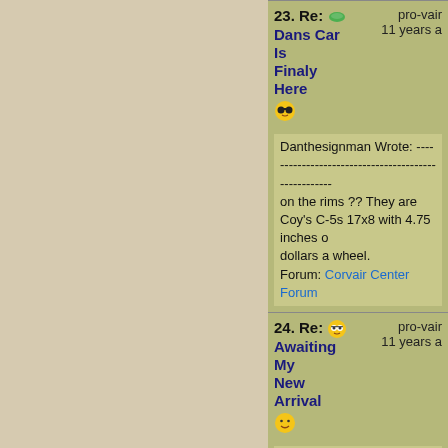23. Re: Dans Car Is Finaly Here — pro-vair — 11 years a
Danthesignman Wrote: ---------------------------------------------------- on the rims ?? They are Coy's C-5s 17x8 with 4.75 inches o dollars a wheel. Forum: Corvair Center Forum
24. Re: Awaiting My New Arrival — pro-vair — 11 years a
I really hope you love it. I'm really looking forward to your re the car. Forum: Corvair Center Forum
25. Re: The New Ride Is On The Way — pro-vair — 11 years a
afvair Wrote: -------------------------------------------- > W vair...now I have to > clean off my keyboard. (grin). How big They're 17x8s front and rear. They have 205s on them, but rear. They're my old rims and tires off of the car in my signat miles on them total.